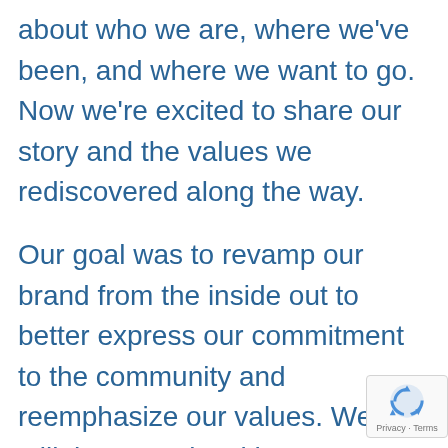about who we are, where we've been, and where we want to go. Now we're excited to share our story and the values we rediscovered along the way.
Our goal was to revamp our brand from the inside out to better express our commitment to the community and reemphasize our values. We're still the same local hometown propane provider we've been since 2001, owned by over 60,000 Oregonians. We wanted our brand to better communicate our pride and steadfast dedication to reliably serving our customers.